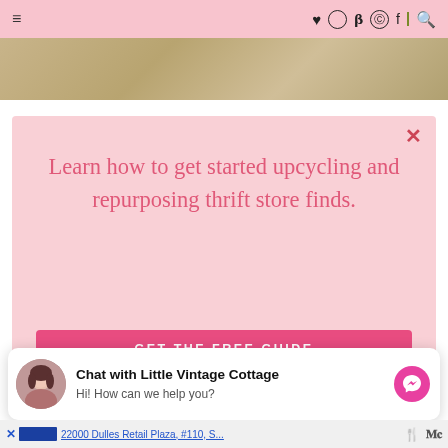≡  ♥ ○ ♦ ⊕ f | ⌕
[Figure (photo): Partial image strip showing a golden/tan background, likely a lifestyle or home decor photo]
[Figure (screenshot): Pink modal popup with close button (×), heading 'Learn how to get started upcycling and repurposing thrift store finds.' and a pink button labeled 'GET THE FREE GUIDE']
Learn how to get started upcycling and repurposing thrift store finds.
[Figure (infographic): Chat widget at bottom: avatar photo of a woman, bold text 'Chat with Little Vintage Cottage', subtext 'Hi! How can we help you?', and pink circular Messenger icon]
22000 Dulles Retail Plaza, #110, S...